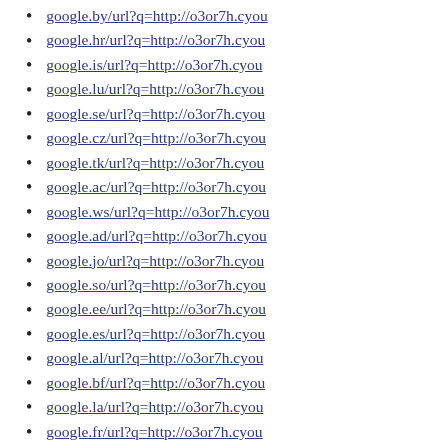google.by/url?q=http://o3or7h.cyou
google.hr/url?q=http://o3or7h.cyou
google.is/url?q=http://o3or7h.cyou
google.lu/url?q=http://o3or7h.cyou
google.se/url?q=http://o3or7h.cyou
google.cz/url?q=http://o3or7h.cyou
google.tk/url?q=http://o3or7h.cyou
google.ac/url?q=http://o3or7h.cyou
google.ws/url?q=http://o3or7h.cyou
google.ad/url?q=http://o3or7h.cyou
google.jo/url?q=http://o3or7h.cyou
google.so/url?q=http://o3or7h.cyou
google.ee/url?q=http://o3or7h.cyou
google.es/url?q=http://o3or7h.cyou
google.al/url?q=http://o3or7h.cyou
google.bf/url?q=http://o3or7h.cyou
google.la/url?q=http://o3or7h.cyou
google.fr/url?q=http://o3or7h.cyou
google.ie/url?q=http://o3or7h.cyou